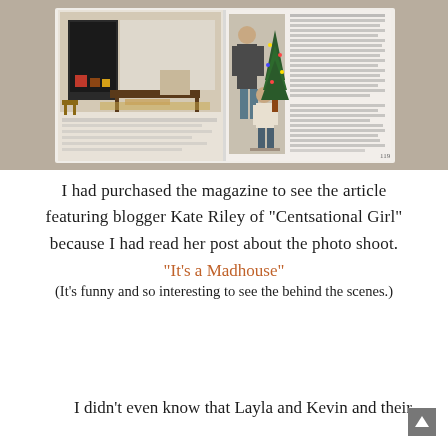[Figure (photo): A photograph of an open magazine spread on a wooden surface. The left page shows a holiday-decorated living room with a fireplace, gifts, and a dining table. The right page shows a couple sitting by a Christmas tree with text columns.]
I had purchased the magazine to see the article featuring blogger Kate Riley of "Centsational Girl" because I had read her post about the photo shoot.
"It's a Madhouse"
(It's funny and so interesting to see the behind the scenes.)
I didn't even know that Layla and Kevin and their